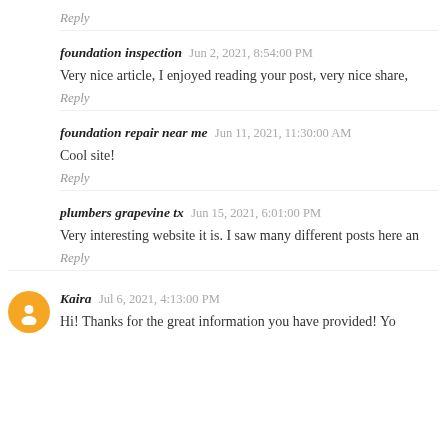Reply
foundation inspection  Jun 2, 2021, 8:54:00 PM
Very nice article, I enjoyed reading your post, very nice share,
Reply
foundation repair near me  Jun 11, 2021, 11:30:00 AM
Cool site!
Reply
plumbers grapevine tx  Jun 15, 2021, 6:01:00 PM
Very interesting website it is. I saw many different posts here an
Reply
Kaira  Jul 6, 2021, 4:13:00 PM
Hi! Thanks for the great information you have provided! Yo